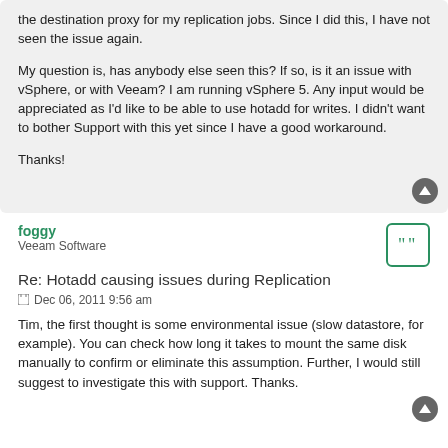the destination proxy for my replication jobs. Since I did this, I have not seen the issue again.
My question is, has anybody else seen this? If so, is it an issue with vSphere, or with Veeam? I am running vSphere 5. Any input would be appreciated as I'd like to be able to use hotadd for writes. I didn't want to bother Support with this yet since I have a good workaround.
Thanks!
foggy
Veeam Software
Re: Hotadd causing issues during Replication
Dec 06, 2011 9:56 am
Tim, the first thought is some environmental issue (slow datastore, for example). You can check how long it takes to mount the same disk manually to confirm or eliminate this assumption. Further, I would still suggest to investigate this with support. Thanks.